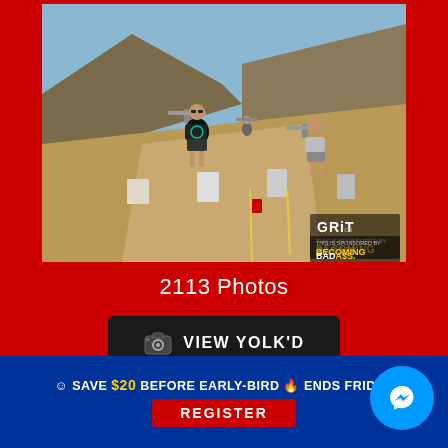[Figure (photo): Outdoor fitness event photo showing athletes carrying yoke bars on a dirt trail with hills in the background. GRIT and Becoming Badass sponsor logos visible in bottom right corner.]
2113 Photos
VIEW YOLK'D
SAVE $20 BEFORE EARLY-BIRD 🔥 ENDS FRIDAY
REGISTER